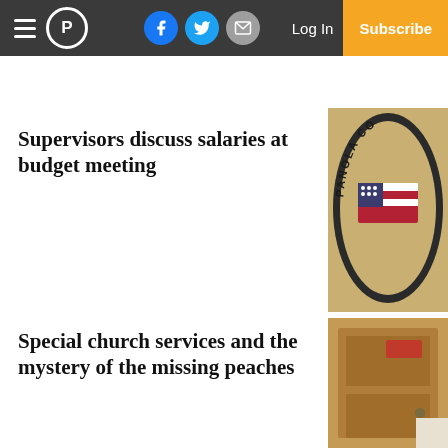P | Log In | Subscribe | Facebook | Twitter | Mail
Supervisors discuss salaries at budget meeting
[Figure (photo): Panola County sheriff badge/patch with American flag]
Special church services and the mystery of the missing peaches
[Figure (photo): Wooden door with a red sign, partial view of a person]